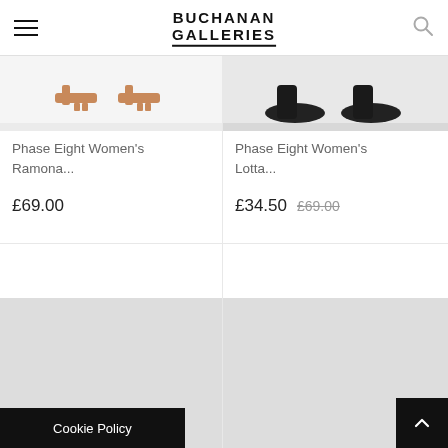BUCHANAN GALLERIES
[Figure (photo): Bottom portion of women's tan sandal shoes on white background - Phase Eight Ramona product image]
Phase Eight Women's Ramona...
£69.00
[Figure (photo): Bottom portion of women's black shoes on grey background - Phase Eight Lotta product image]
Phase Eight Women's Lotta...
£34.50  £69.00
[Figure (photo): Partially visible product image placeholder - light grey loading area]
[Figure (photo): Partially visible product image placeholder - light grey loading area]
Cookie Policy